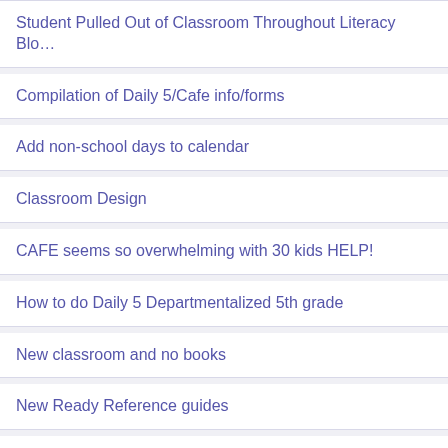Student Pulled Out of Classroom Throughout Literacy Blo…
Compilation of Daily 5/Cafe info/forms
Add non-school days to calendar
Classroom Design
CAFE seems so overwhelming with 30 kids HELP!
How to do Daily 5 Departmentalized 5th grade
New classroom and no books
New Ready Reference guides
John Hattie effect size
Using Reading Logs? Yes? No?
Resources for At-Home Learning